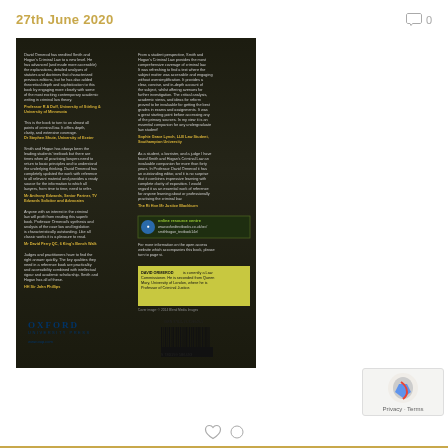27th June 2020
[Figure (photo): Back cover of Smith and Hogan's Criminal Law (Oxford University Press) showing endorsement quotes, author biography of David Ormerod, barcode, and Oxford University Press logo]
Privacy · Terms